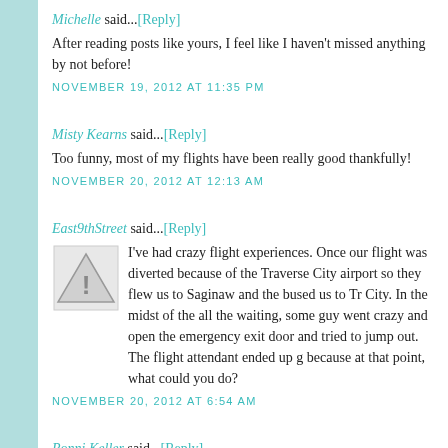Michelle said...[Reply]
After reading posts like yours, I feel like I haven't missed anything by not before!
NOVEMBER 19, 2012 AT 11:35 PM
Misty Kearns said...[Reply]
Too funny, most of my flights have been really good thankfully!
NOVEMBER 20, 2012 AT 12:13 AM
East9thStreet said...[Reply]
[Figure (illustration): Warning/caution triangle icon with exclamation mark]
I've had crazy flight experiences. Once our flight was diverted because of the Traverse City airport so they flew us to Saginaw and the bused us to Tr City. In the midst of the all the waiting, some guy went crazy and open the emergency exit door and tried to jump out. The flight attendant ended up g because at that point, what could you do?
NOVEMBER 20, 2012 AT 6:54 AM
Ronni Keller said...[Reply]
I haven't heard of this!! I kinda need to watch it now!